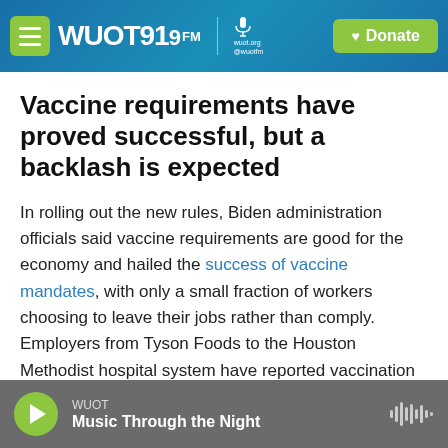WUOT 91.9 FM | wuot.org @wuotfm | Donate
Vaccine requirements have proved successful, but a backlash is expected
In rolling out the new rules, Biden administration officials said vaccine requirements are good for the economy and hailed the success of vaccine mandates, with only a small fraction of workers choosing to leave their jobs rather than comply. Employers from Tyson Foods to the Houston Methodist hospital system have reported vaccination rates topping 96%.
WUOT | Music Through the Night